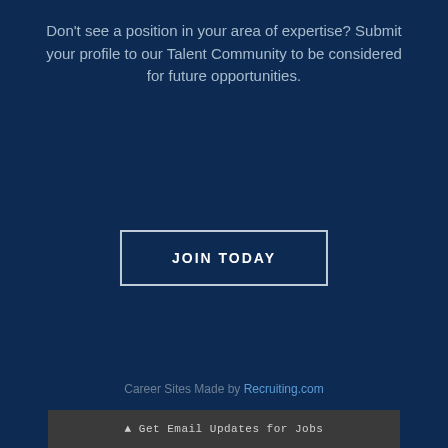Don't see a position in your area of expertise? Submit your profile to our Talent Community to be considered for future opportunities.
[Figure (other): A rectangular call-to-action button with border and text 'JOIN TODAY' centered on a dark navy background]
Career Sites Made by Recruiting.com
▲ Get Email Updates for Jobs